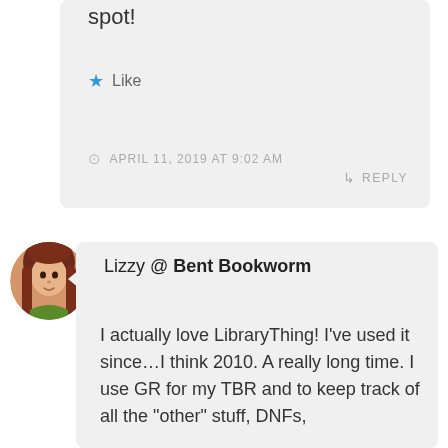spot!
Like
APRIL 11, 2019 AT 9:02 AM
REPLY
Lizzy @ Bent Bookworm
I actually love LibraryThing! I've used it since…I think 2010. A really long time. I use GR for my TBR and to keep track of all the "other" stuff, DNFs,